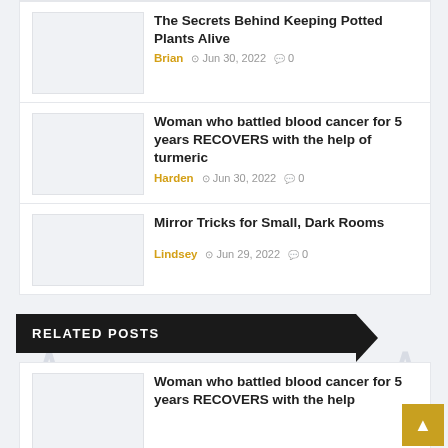The Secrets Behind Keeping Potted Plants Alive | Brian | Jun 30, 2022 | 0 comments
Woman who battled blood cancer for 5 years RECOVERS with the help of turmeric | Harden | Jun 30, 2022 | 0 comments
Mirror Tricks for Small, Dark Rooms | Lindsey | Jun 29, 2022 | 0 comments
RELATED POSTS
Woman who battled blood cancer for 5 years RECOVERS with the help